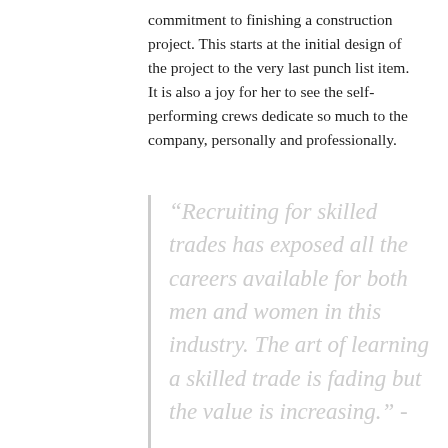commitment to finishing a construction project. This starts at the initial design of the project to the very last punch list item. It is also a joy for her to see the self-performing crews dedicate so much to the company, personally and professionally.
“Recruiting for skilled trades has exposed all the careers available for both men and women in this industry. The art of learning a skilled trade is fading but the value is increasing.” -